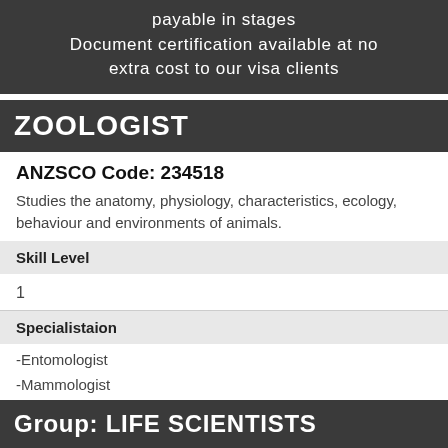payable in stages Document certification available at no extra cost to our visa clients
ZOOLOGIST
ANZSCO Code: 234518
Studies the anatomy, physiology, characteristics, ecology, behaviour and environments of animals.
Skill Level
1
Specialistaion
-Entomologist
-Mammologist
-Ornithologist
Group: LIFE SCIENTISTS